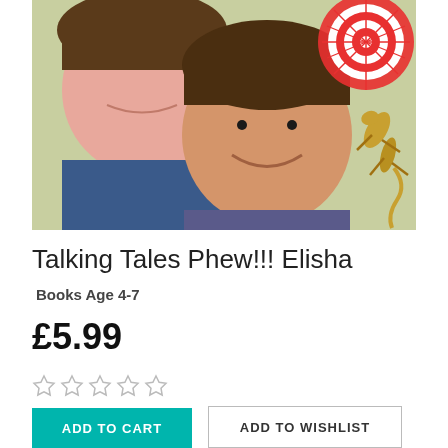[Figure (illustration): Children's book cover illustration showing two cartoon characters – an adult and a child with brown hair smiling, with a red and white spiral pattern and a lizard on the upper right, on a light green background]
Talking Tales Phew!!! Elisha
Books Age 4-7
£5.99
[Figure (other): Five empty star rating icons (0 out of 5 stars)]
ADD TO CART
ADD TO WISHLIST